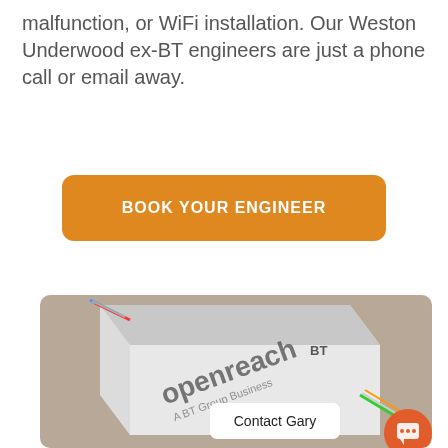malfunction, or WiFi installation. Our Weston Underwood ex-BT engineers are just a phone call or email away.
BOOK YOUR ENGINEER
[Figure (photo): Close-up photo of a white BT Openreach network box with coloured wires visible, with a 'Contact Gary' chat bubble overlay in the bottom right corner.]